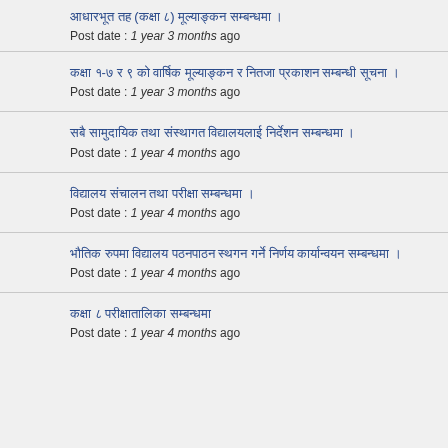आधारभूत तह (कक्षा ८) मूल्याङ्कन सम्बन्धमा ।
Post date : 1 year 3 months ago
कक्षा १-७ र ९ को वार्षिक मूल्याङ्कन र नितजा प्रकाशन सम्बन्धी सूचना ।
Post date : 1 year 3 months ago
सबै सामुदायिक तथा संस्थागत विद्यालयलाई निर्देशन सम्बन्धमा ।
Post date : 1 year 4 months ago
विद्यालय संचालन तथा परीक्षा सम्बन्धमा ।
Post date : 1 year 4 months ago
भौतिक रुपमा विद्यालय पठनपाठन स्थगन गर्ने निर्णय कार्यान्वयन सम्बन्धमा ।
Post date : 1 year 4 months ago
कक्षा ८ परीक्षातालिका सम्बन्धमा
Post date : 1 year 4 months ago